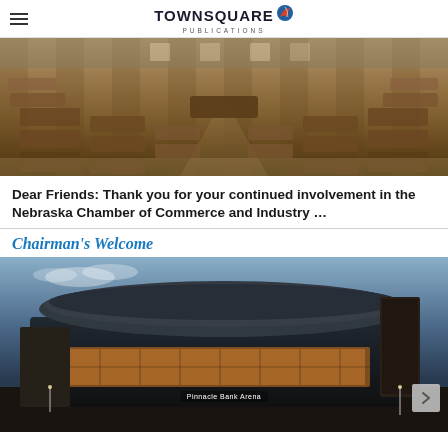TOWNSQUARE PUBLICATIONS
[Figure (photo): Interior of a legislative chamber with rows of wooden desks arranged in a formal hearing room setting, wide perspective shot]
Dear Friends: Thank you for your continued involvement in the Nebraska Chamber of Commerce and Industry …
Chairman's Welcome
[Figure (photo): Exterior night/dusk photo of Pinnacle Bank Arena, a modern arena building with illuminated glass facade and distinctive curved roof structure]